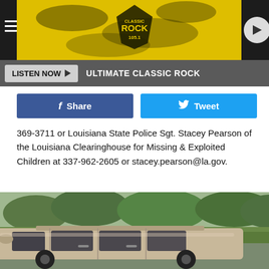[Figure (screenshot): Classic Rock 105.1 radio station header banner with yellow splatter background and hamburger menu icon on left, play button on right]
LISTEN NOW ▶  ULTIMATE CLASSIC ROCK
Share  Tweet
369-3711 or Louisiana State Police Sgt. Stacey Pearson of the Louisiana Clearinghouse for Missing & Exploited Children at 337-962-2605 or stacey.pearson@la.gov.
[Figure (photo): Photo of a silver/tan minivan parked on a road with green trees and grass in the background]